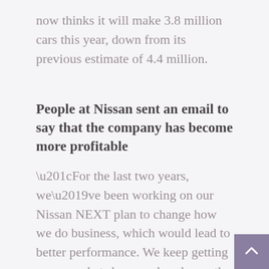now thinks it will make 3.8 million cars this year, down from its previous estimate of 4.4 million.
People at Nissan sent an email to say that the company has become more profitable
“For the last two years, we’ve been working on our Nissan NEXT plan to change how we do business, which would lead to better performance. We keep getting more market share, and each month, retail sales stay the same.” The automaker thinks that production will go up a little each month through the next three months. “Although